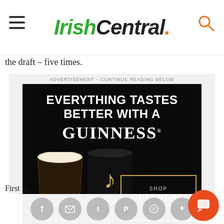IrishCentral.
the draft – five times.
[Figure (photo): Guinness advertisement on IrishCentral website. Black background with white text reading 'EVERYTHING TASTES BETTER WITH A GUINNESS'. Shows a pint glass and Guinness Draught can. Shop Guinness Draught button in gold border. ADVERTISEMENT - CONTINUE READING BELOW label above.]
First f...